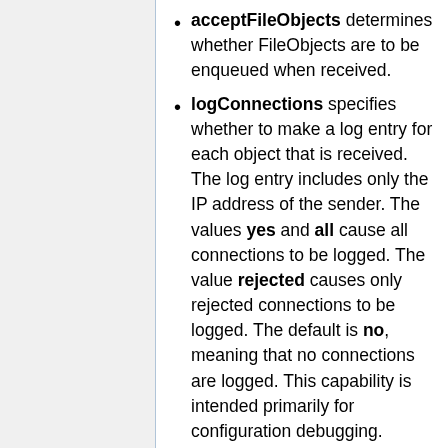acceptFileObjects determines whether FileObjects are to be enqueued when received.
logConnections specifies whether to make a log entry for each object that is received. The log entry includes only the IP address of the sender. The values yes and all cause all connections to be logged. The value rejected causes only rejected connections to be logged. The default is no, meaning that no connections are logged. This capability is intended primarily for configuration debugging.
logDuplicates specifies whether to make a log entry for each object whose UID matches that of any other object in the last 20 that have been received. This capability is intended